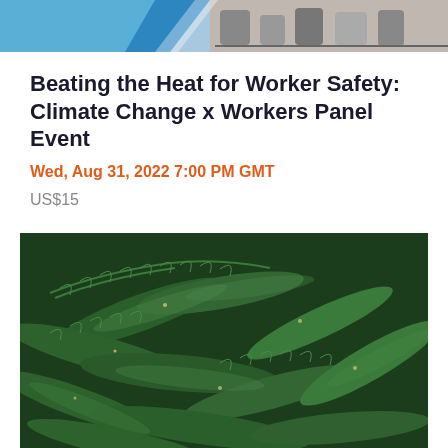[Figure (photo): Header banner with blue geometric shapes on left and black-and-white photo of people on right]
Beating the Heat for Worker Safety: Climate Change x Workers Panel Event
Wed, Aug 31, 2022 7:00 PM GMT
US$15
[Figure (photo): Close-up overhead view of lush green fern leaves arranged in spiral patterns]